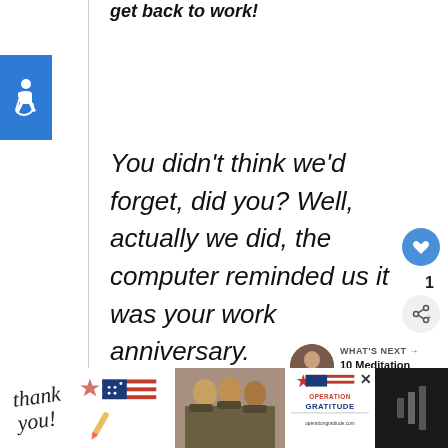get back to work!
[Figure (illustration): Blue square with white wheelchair accessibility icon]
You didn't think we'd forget, did you? Well, actually we did, the computer reminded us it was your work anniversary.
[Figure (infographic): Blue circular heart/like button with count of 1, and a share button below it]
WHAT'S NEXT → 10 Meditation Funny Quot...
[Figure (infographic): Advertisement bar at bottom: Thank you with pencil illustration, soldiers photo, Operation Gratitude logo, dark right panel]